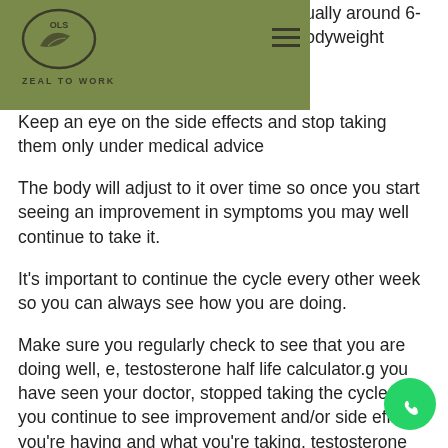OLS ZEAL TO WORK
every 30 days, usually around 6-10mg per mg of bodyweight
Keep an eye on the side effects and stop taking them only under medical advice
The body will adjust to it over time so once you start seeing an improvement in symptoms you may well continue to take it.
It's important to continue the cycle every other week so you can always see how you are doing.
Make sure you regularly check to see that you are doing well, e, testosterone half life calculator.g you have seen your doctor, stopped taking the cycle and you continue to see improvement and/or side effects you're having and what you're taking, testosterone half life calculator.